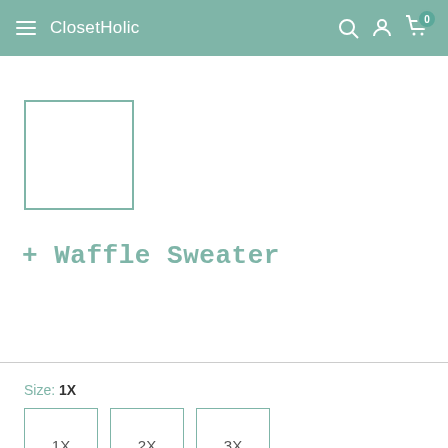ClosetHolic
[Figure (other): Product image placeholder — empty square with teal border]
+ Waffle Sweater
Size: 1X
1X  2X  3X